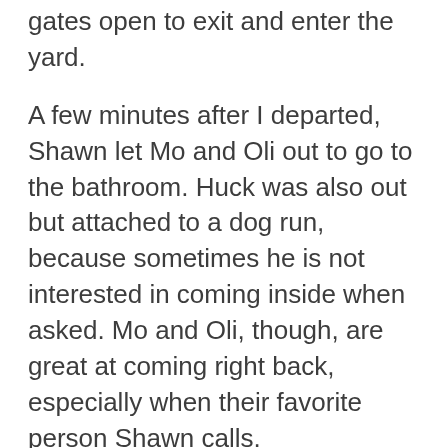gates open to exit and enter the yard.
A few minutes after I departed, Shawn let Mo and Oli out to go to the bathroom. Huck was also out but attached to a dog run, because sometimes he is not interested in coming inside when asked. Mo and Oli, though, are great at coming right back, especially when their favorite person Shawn calls.
Unfortunately, it seems there may have been a moose who appeared on the trail shortly after I departed, and just before Mo and Oli went outside.
I was mushing along, cautiously testing out my brake and drag, and watching the team. The team was very amped up! They had had some slower days between their various checks and